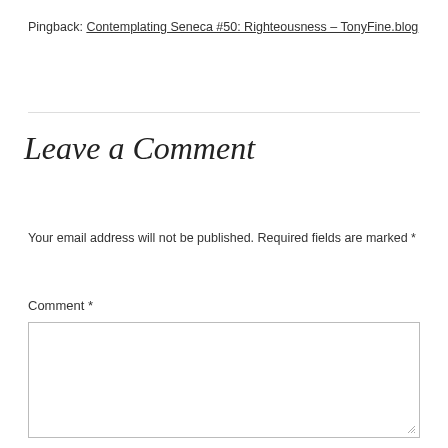Pingback: Contemplating Seneca #50: Righteousness – TonyFine.blog
Leave a Comment
Your email address will not be published. Required fields are marked *
Comment *